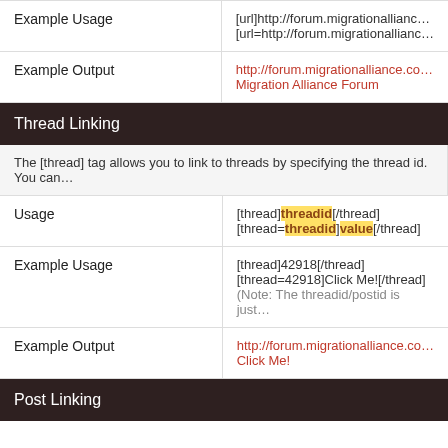| Example Usage | [url]http://forum.migrationallianc…
[url=http://forum.migrationallianc… |
| Example Output | http://forum.migrationalliance.co…
Migration Alliance Forum |
Thread Linking
The [thread] tag allows you to link to threads by specifying the thread id. You can…
| Usage | [thread]threadid[/thread]
[thread=threadid]value[/thread] |
| Example Usage | [thread]42918[/thread]
[thread=42918]Click Me![/thread]
(Note: The threadid/postid is just… |
| Example Output | http://forum.migrationalliance.co…
Click Me! |
Post Linking